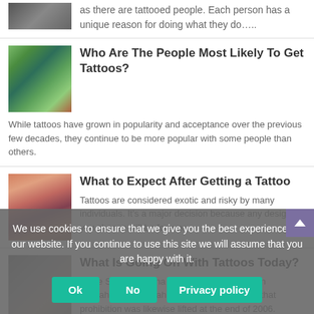as there are tattooed people. Each person has a unique reason for doing what they do…..
[Figure (photo): Partial image of tattooed person, top of page]
Who Are The People Most Likely To Get Tattoos?
[Figure (photo): Colorful tree tattoo sleeve on an arm]
While tattoos have grown in popularity and acceptance over the previous few decades, they continue to be more popular with some people than others.
What to Expect After Getting a Tattoo
[Figure (photo): Floral tattoo on side of body]
Tattoos are considered exotic and risky by many individuals. It's a major decision because any design you choose will be forever.
What Is Going On With Tattoos Today?
[Figure (photo): Close-up of tattooed hands or feet]
Since South Carolina dropped its tattoo ban in ...oklahoma and Utah prohibited tattoos until that prohibition was likewise lifted at the end of 2006.
We use cookies to ensure that we give you the best experience on our website. If you continue to use this site we will assume that you are happy with it.